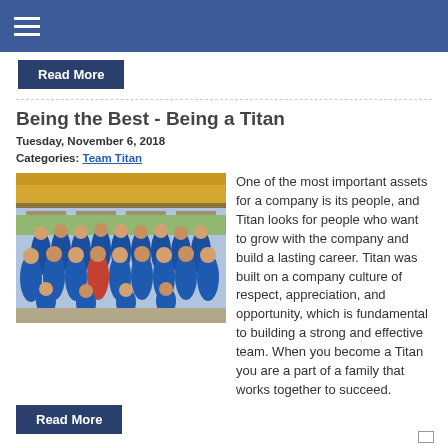Read More
Being the Best - Being a Titan
Tuesday, November 6, 2018
Categories: Team Titan
[Figure (photo): Group photo of Titan employees wearing blue t-shirts at an outdoor pavilion/picnic area]
One of the most important assets for a company is its people, and Titan looks for people who want to grow with the company and build a lasting career. Titan was built on a company culture of respect, appreciation, and opportunity, which is fundamental to building a strong and effective team. When you become a Titan you are a part of a family that works together to succeed.
Read More